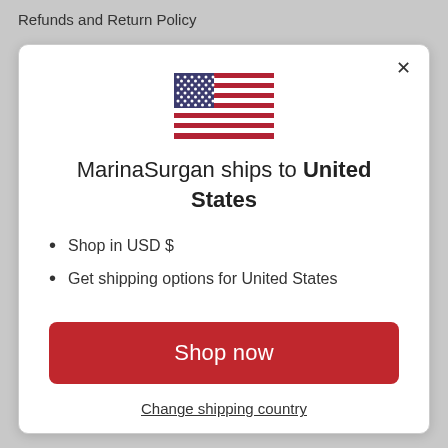Refunds and Return Policy
[Figure (illustration): US flag icon showing stars and stripes in red, white and blue]
MarinaSurgan ships to United States
Shop in USD $
Get shipping options for United States
Shop now
Change shipping country